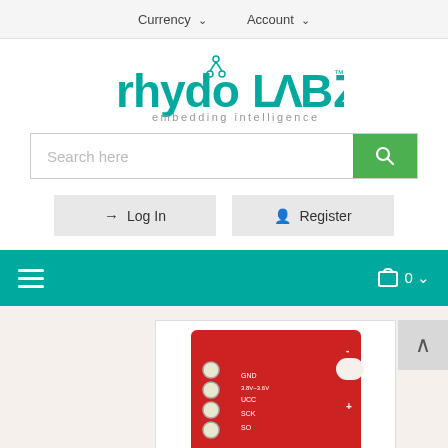Currency ∨   Account ∨
[Figure (logo): rhydoLABZ logo with scissors icon and tagline 'embedding intelligence']
Search here
Log In
Register
[Figure (screenshot): Teal navigation bar with hamburger menu icon on left and cart icon with '0' on right]
[Figure (photo): Red electronics PCB board product photo (partial) with labels GND, 3.8V-3.6V, UCC, SCK, SO visible]